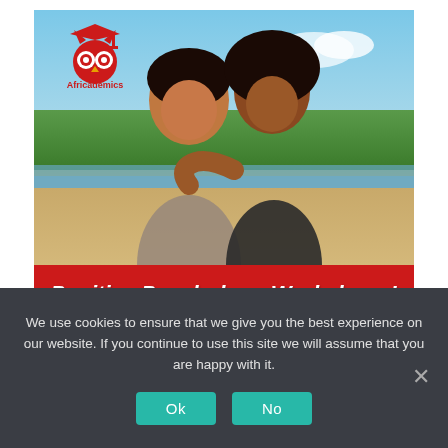[Figure (photo): Two young Black women laughing on a beach, one with arms around the other, with trees and water in the background. Africademics owl logo in top-left corner. Red banner at bottom reading 'Positive Psychology Workshops!' in bold italic white text.]
Now available: Positive Psychology Workshops!
We use cookies to ensure that we give you the best experience on our website. If you continue to use this site we will assume that you are happy with it.